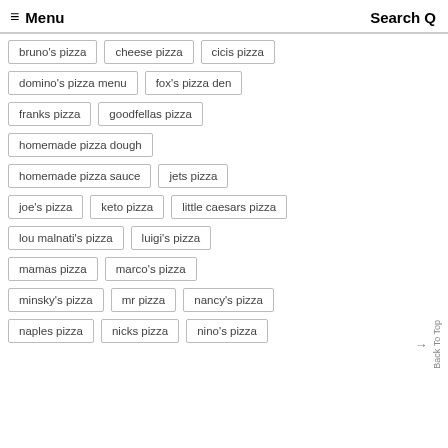≡ Menu   Search Q
bruno's pizza
cheese pizza
cicis pizza
domino's pizza menu
fox's pizza den
franks pizza
goodfellas pizza
homemade pizza dough
homemade pizza sauce
jets pizza
joe's pizza
keto pizza
little caesars pizza
lou malnati's pizza
luigi's pizza
mamas pizza
marco's pizza
minsky's pizza
mr pizza
nancy's pizza
naples pizza
nicks pizza
nino's pizza